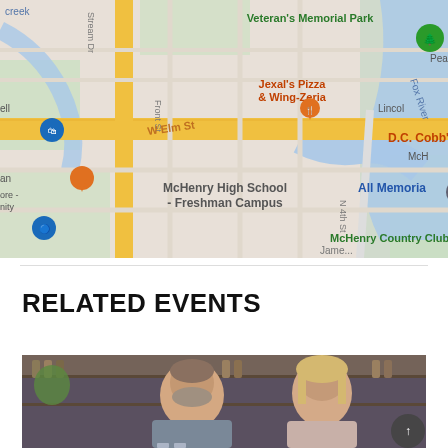[Figure (map): Google Maps screenshot showing McHenry, Illinois area with Veteran's Memorial Park, Jexal's Pizza & Wing-Zeria, D.C. Cobb's, McHenry High School Freshman Campus, McHenry Country Club, Fox River, W Elm St, Pearl St, N 4th St, Front St, Lincoln area, and All Memorial label visible. Multiple orange restaurant pins and other location markers shown.]
RELATED EVENTS
[Figure (photo): Photograph of a man with short beard and a woman with blonde hair, both in a restaurant or bar setting with shelving and bottles behind them.]